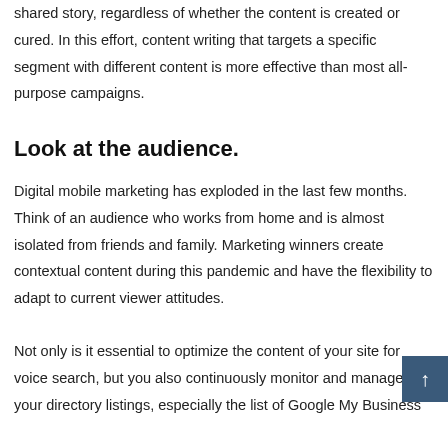shared story, regardless of whether the content is created or cured. In this effort, content writing that targets a specific segment with different content is more effective than most all-purpose campaigns.
Look at the audience.
Digital mobile marketing has exploded in the last few months. Think of an audience who works from home and is almost isolated from friends and family. Marketing winners create contextual content during this pandemic and have the flexibility to adapt to current viewer attitudes.
Not only is it essential to optimize the content of your site for voice search, but you also continuously monitor and manage your directory listings, especially the list of Google My Business